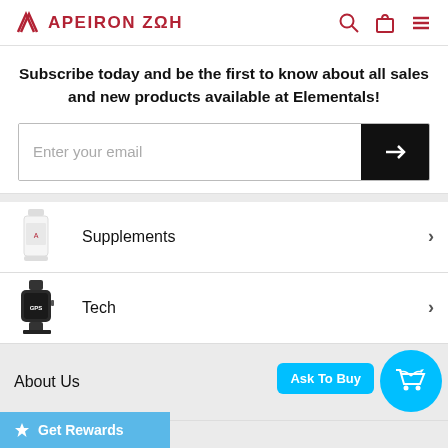APEIRON ZΩH
Subscribe today and be the first to know about all sales and new products available at Elementals!
Enter your email
Supplements
Tech
About Us
Resources
Get Rewards
Ask To Buy